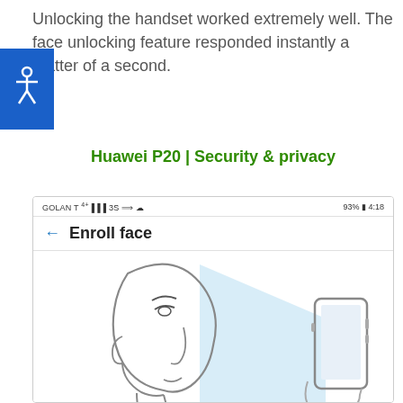Unlocking the handset worked extremely well. The face unlocking feature responded instantly a matter of a second.
Huawei P20 | Security & privacy
[Figure (screenshot): Screenshot of Huawei P20 'Enroll face' screen showing status bar with GOLAN T carrier, 93% battery, 4:18 time, a back arrow, 'Enroll face' title, and an illustration of a person's face profile scanning toward a phone held in a hand.]